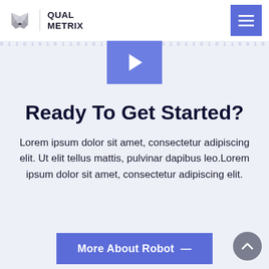[Figure (logo): QualMetrix logo with grey fox/wolf head icon and vertical bar separator, text reads QUAL METRIX]
[Figure (other): Blue hamburger menu button with three white horizontal lines on blue/indigo background]
[Figure (other): Blue play button (triangle) centered at top of binary-code background section]
Ready To Get Started?
Lorem ipsum dolor sit amet, consectetur adipiscing elit. Ut elit tellus mattis, pulvinar dapibus leo.Lorem ipsum dolor sit amet, consectetur adipiscing elit.
[Figure (other): Blue CTA button labeled 'More About Robot —']
[Figure (other): Grey circular scroll-to-top button with upward chevron arrow]